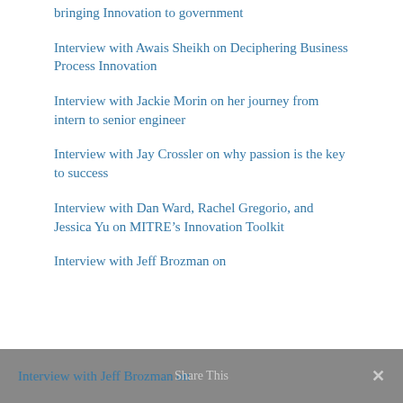bringing Innovation to government
Interview with Awais Sheikh on Deciphering Business Process Innovation
Interview with Jackie Morin on her journey from intern to senior engineer
Interview with Jay Crossler on why passion is the key to success
Interview with Dan Ward, Rachel Gregorio, and Jessica Yu on MITRE’s Innovation Toolkit
Interview with Jeff Brozman on
Share This ×